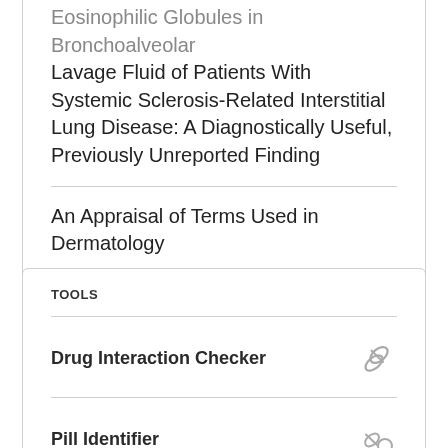Eosinophilic Globules in Bronchoalveolar Lavage Fluid of Patients With Systemic Sclerosis-Related Interstitial Lung Disease: A Diagnostically Useful, Previously Unreported Finding
An Appraisal of Terms Used in Dermatology
TOOLS
Drug Interaction Checker
Pill Identifier
Calculators